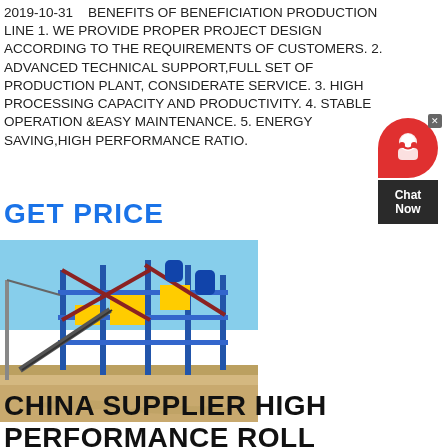2019-10-31    BENEFITS OF BENEFICIATION PRODUCTION LINE 1. WE PROVIDE PROPER PROJECT DESIGN ACCORDING TO THE REQUIREMENTS OF CUSTOMERS. 2. ADVANCED TECHNICAL SUPPORT,FULL SET OF PRODUCTION PLANT, CONSIDERATE SERVICE. 3. HIGH PROCESSING CAPACITY AND PRODUCTIVITY. 4. STABLE OPERATION &EASY MAINTENANCE. 5. ENERGY SAVING,HIGH PERFORMANCE RATIO.
GET PRICE
[Figure (photo): Industrial beneficiation production line with blue steel framework, conveyor belts, yellow machinery, cranes, situated on sandy ground under a clear sky.]
[Figure (other): Red and black chat widget with headset icon and 'Chat Now' label]
CHINA SUPPLIER HIGH PERFORMANCE ROLL GRINDING